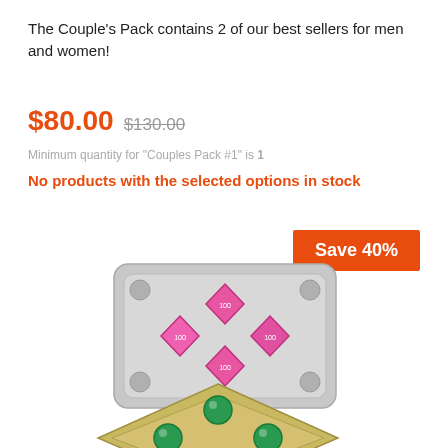The Couple's Pack contains 2 of our best sellers for men and women!
$80.00  $130.00
Minimum quantity for "Couples Pack #1" is 1
No products with the selected options in stock
[Figure (other): Orange 'Save 40%' badge button]
[Figure (photo): Silver blister pack with 4 pink diamond-shaped pills]
[Figure (photo): Gold/silver blister pack with 4 green round pills arranged in diamond pattern]